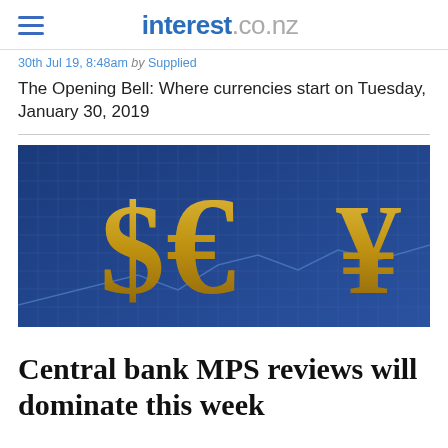interest.co.nz
30th Jul 19, 8:48am by Supplied
The Opening Bell: Where currencies start on Tuesday, January 30, 2019
[Figure (photo): 3D golden currency symbols - dollar sign, euro sign, and yen sign on a blue financial chart background]
Central bank MPS reviews will dominate this week